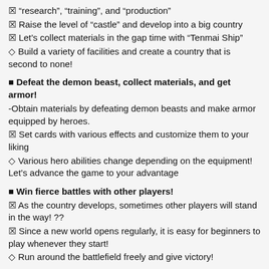☒ "research", "training", and "production"
☒ Raise the level of "castle" and develop into a big country
☒ Let’s collect materials in the gap time with "Tenmai Ship"
◇ Build a variety of facilities and create a country that is second to none!
■ Defeat the demon beast, collect materials, and get armor!
-Obtain materials by defeating demon beasts and make armor equipped by heroes.
☒ Set cards with various effects and customize them to your liking
◇ Various hero abilities change depending on the equipment! Let’s advance the game to your advantage
■ Win fierce battles with other players!
☒ As the country develops, sometimes other players will stand in the way! ??
☒ Since a new world opens regularly, it is easy for beginners to play whenever they start!
◇ Run around the battlefield freely and give victory!
■ Form an alliance and advance the game to your advantage!
☒ Cooperative play with alliance members (other players)!
☒ Research and construction progress speedily with the support of alliance members!